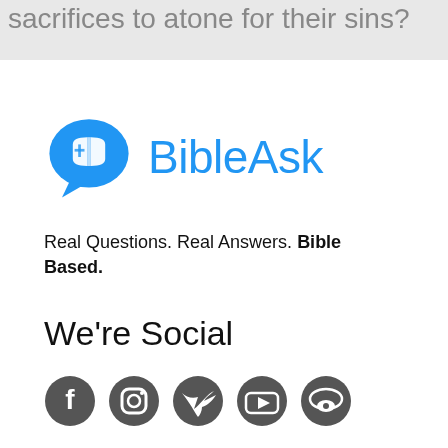sacrifices to atone for their sins?
[Figure (logo): BibleAsk logo: blue speech bubble with open book and cross icon, followed by blue text 'BibleAsk']
Real Questions. Real Answers. Bible Based.
We're Social
[Figure (illustration): Social media icons row: Facebook, Instagram, Twitter, YouTube, Reddit]